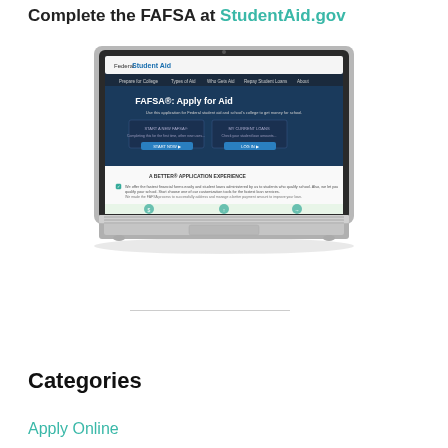Complete the FAFSA at StudentAid.gov
[Figure (screenshot): Screenshot of a laptop computer displaying the Federal Student Aid website with FAFSA: Apply for Aid page visible on screen]
Categories
Apply Online